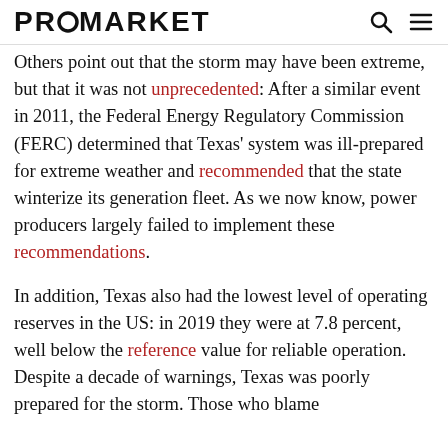PROMARKET
Others point out that the storm may have been extreme, but that it was not unprecedented: After a similar event in 2011, the Federal Energy Regulatory Commission (FERC) determined that Texas' system was ill-prepared for extreme weather and recommended that the state winterize its generation fleet. As we now know, power producers largely failed to implement these recommendations.
In addition, Texas also had the lowest level of operating reserves in the US: in 2019 they were at 7.8 percent, well below the reference value for reliable operation. Despite a decade of warnings, Texas was poorly prepared for the storm. Those who blame